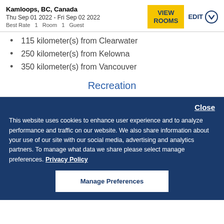Kamloops, BC, Canada
Thu Sep 01 2022 - Fri Sep 02 2022
Best Rate  1  Room  1  Guest
115 kilometer(s) from Clearwater
250 kilometer(s) from Kelowna
350 kilometer(s) from Vancouver
Recreation
Close
This website uses cookies to enhance user experience and to analyze performance and traffic on our website. We also share information about your use of our site with our social media, advertising and analytics partners. To manage what data we share please select manage preferences. Privacy Policy
Manage Preferences